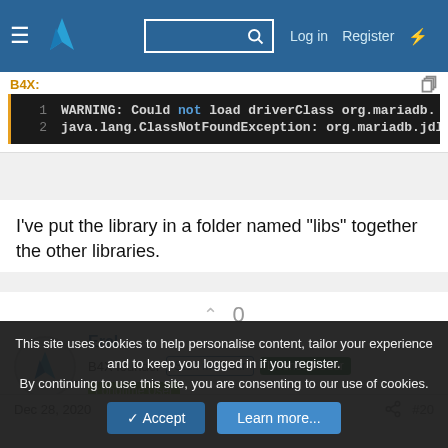B4X forum navigation bar with Log in, Register links
[Figure (screenshot): Code block showing WARNING: Could not load driverClass org.mariadb. on line 1 and java.lang.ClassNotFoundException: org.mariadb.jdb on line 2]
I've put the library in a folder named "libs" together the other libraries.
0
Erel
B4X founder  Staff member  Licensed User  Longtime User
Dec 28, 2020  #20
This site uses cookies to help personalise content, tailor your experience and to keep you logged in if you register.
By continuing to use this site, you are consenting to our use of cookies.
Accept  Learn more...